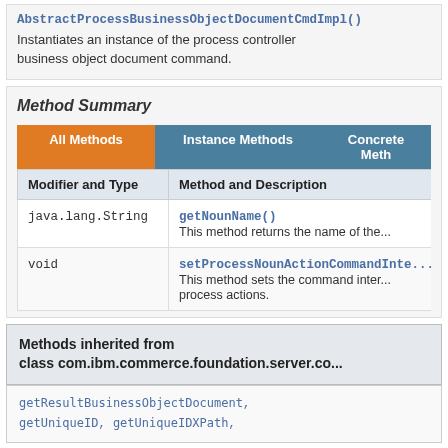AbstractProcessBusinessObjectDocumentCmdImpl()
Instantiates an instance of the process controller business object document command.
Method Summary
| Modifier and Type | Method and Description |
| --- | --- |
| java.lang.String | getNounName()
This method returns the name of the... |
| void | setProcessNounActionCommandInte...
This method sets the command inter... process actions. |
Methods inherited from
class com.ibm.commerce.foundation.server.co...
getResultBusinessObjectDocument,
getUniqueID, getUniqueIDXPath,